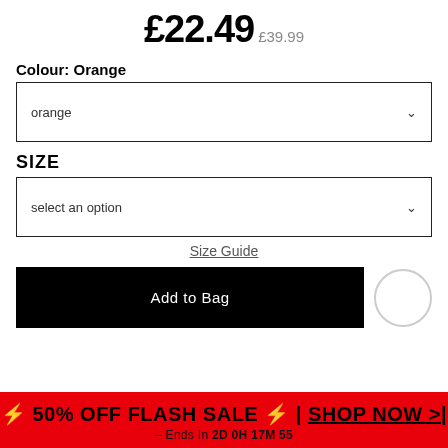£22.49  £39.99
Colour: Orange
orange (dropdown)
SIZE
select an option (dropdown)
Size Guide
Add to Bag
⚡ 50% OFF FLASH SALE ⚡ | SHOP NOW >
– Ends In 2D 0H 17M 55